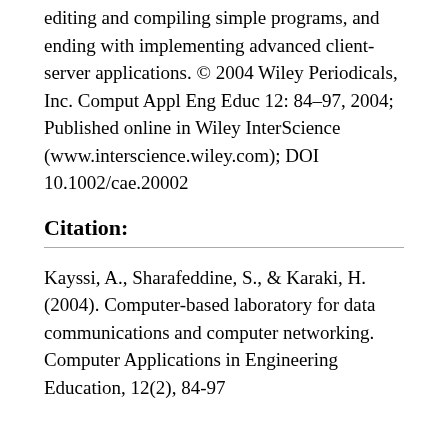editing and compiling simple programs, and ending with implementing advanced client-server applications. © 2004 Wiley Periodicals, Inc. Comput Appl Eng Educ 12: 84–97, 2004; Published online in Wiley InterScience (www.interscience.wiley.com); DOI 10.1002/cae.20002
Citation:
Kayssi, A., Sharafeddine, S., & Karaki, H. (2004). Computer-based laboratory for data communications and computer networking. Computer Applications in Engineering Education, 12(2), 84-97